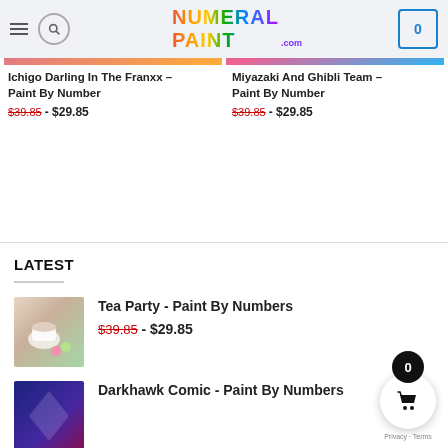Numeral Paint .com — navigation header with hamburger, search, logo, and cart (0)
[Figure (screenshot): Product image thumbnail for Ichigo Darling In The Franxx]
Ichigo Darling In The Franxx – Paint By Number $39.85 - $29.85
[Figure (screenshot): Product image thumbnail for Miyazaki And Ghibli Team]
Miyazaki And Ghibli Team – Paint By Number $39.85 - $29.85
LATEST
[Figure (photo): Thumbnail image of tea party scene with teacup and macarons]
Tea Party - Paint By Numbers $39.85 - $29.85
[Figure (photo): Thumbnail image for Darkhawk Comic]
Darkhawk Comic - Paint By Numbers